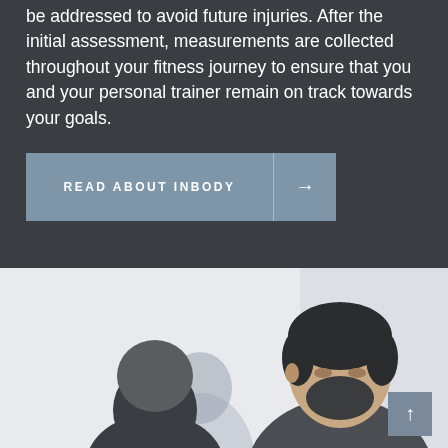be addressed to avoid future injuries. After the initial assessment, measurements are collected throughout your fitness journey to ensure that you and your personal trainer remain on track towards your goals.
[Figure (other): A styled button/call-to-action element reading 'READ ABOUT INBODY' with a right-arrow on the right side, displayed in a muted steel blue color.]
[Figure (photo): A photograph showing two people, one with dark short hair and a beard visible from shoulders up, appearing to be in a fitness training or consultation context. Background is light/white.]